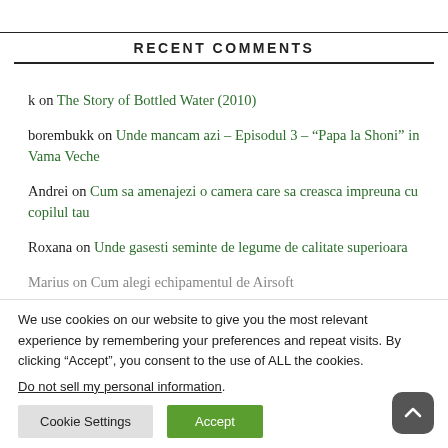RECENT COMMENTS
k on The Story of Bottled Water (2010)
borembukk on Unde mancam azi – Episodul 3 – “Papa la Shoni” in Vama Veche
Andrei on Cum sa amenajezi o camera care sa creasca impreuna cu copilul tau
Roxana on Unde gasesti seminte de legume de calitate superioara
Marius on Cum alegi echipamentul de Airsoft
We use cookies on our website to give you the most relevant experience by remembering your preferences and repeat visits. By clicking “Accept”, you consent to the use of ALL the cookies. Do not sell my personal information.